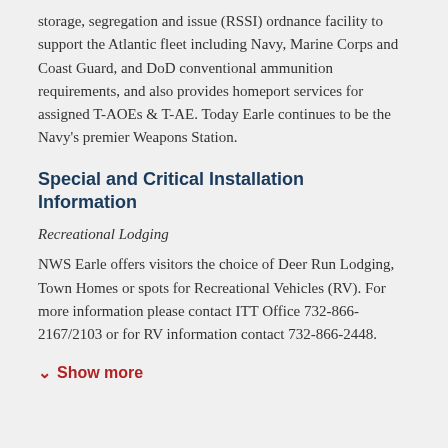storage, segregation and issue (RSSI) ordnance facility to support the Atlantic fleet including Navy, Marine Corps and Coast Guard, and DoD conventional ammunition requirements, and also provides homeport services for assigned T-AOEs & T-AE. Today Earle continues to be the Navy's premier Weapons Station.
Special and Critical Installation Information
Recreational Lodging
NWS Earle offers visitors the choice of Deer Run Lodging, Town Homes or spots for Recreational Vehicles (RV). For more information please contact ITT Office 732-866-2167/2103 or for RV information contact 732-866-2448.
Show more